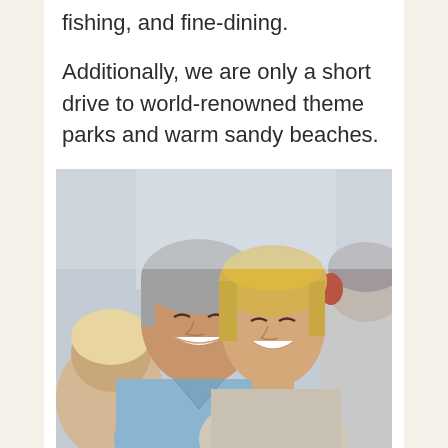fishing, and fine-dining.
Additionally, we are only a short drive to world-renowned theme parks and warm sandy beaches.
[Figure (photo): An older couple smiling and looking at each other warmly, surrounded by two other people partially visible, in a bright indoor setting. The man has gray hair and wears a light blue sweater; the woman is blonde and smiling back at him.]